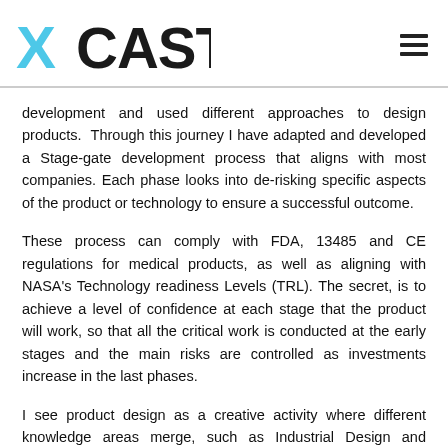XCASTRO
development and used different approaches to design products.  Through this journey I have adapted and developed a Stage-gate development process that aligns with most companies. Each phase looks into de-risking specific aspects of the product or technology to ensure a successful outcome.
These process can comply with FDA, 13485 and CE regulations for medical products, as well as aligning with NASA's Technology readiness Levels (TRL). The secret, is to achieve a level of confidence at each stage that the product will work, so that all the critical work is conducted at the early stages and the main risks are controlled as investments increase in the last phases.
I see product design as a creative activity where different knowledge areas merge, such as Industrial Design and Mechanical Engineering. A good product development plan must